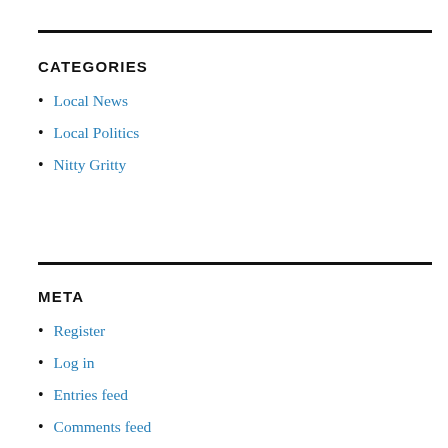CATEGORIES
Local News
Local Politics
Nitty Gritty
META
Register
Log in
Entries feed
Comments feed
WordP…